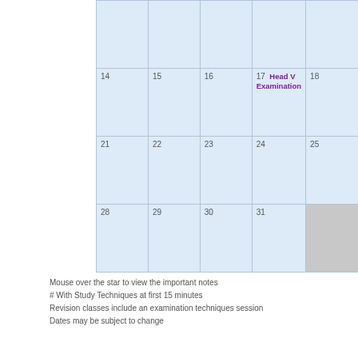|  |  |  |  |  |
| --- | --- | --- | --- | --- |
|  |  |  |  |  |
| 14 | 15 | 16 | 17  Head V Examination | 18 |
| 21 | 22 | 23 | 24 | 25 |
| 28 | 29 | 30 | 31 |  |
Mouse over the star to view the important notes
# With Study Techniques at first 15 minutes
Revision classes include an examination techniques session
Dates may be subject to change